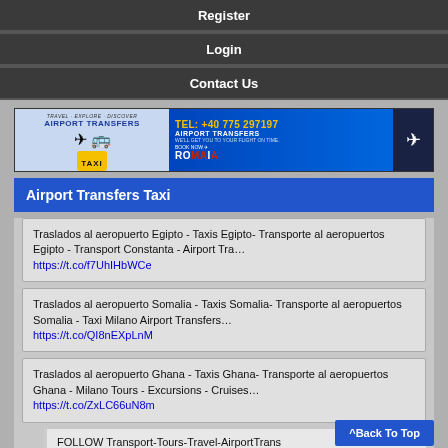Register
Login
Contact Us
[Figure (infographic): Airport Transfers Taxi advertisement banner. TEL: +40 775 297197, AIRPORT TRANSFERS, WE'LL GET YOU TO YOUR FLIGHT ON TIME. BOOK NOW ROMANIA. Taxi logo and airplane images.]
Airport Transfers Taxi
Traslados al aeropuerto Egipto - Taxis Egipto- Transporte al aeropuertos Egipto - Transport Constanta - Airport Tra… https://t.co/f7UhIHbWCe
Traslados al aeropuerto Somalia - Taxis Somalia- Transporte al aeropuertos Somalia - Taxi Milano Airport Transfers… https://t.co/QI8nEXpLnM
Traslados al aeropuerto Ghana - Taxis Ghana- Transporte al aeropuertos Ghana - Milano Tours - Excursions - Cruises… https://t.co/ZxLC66uN8m
FOLLOW Transport-Tours-Travel-AirportTrans ON TWITTER